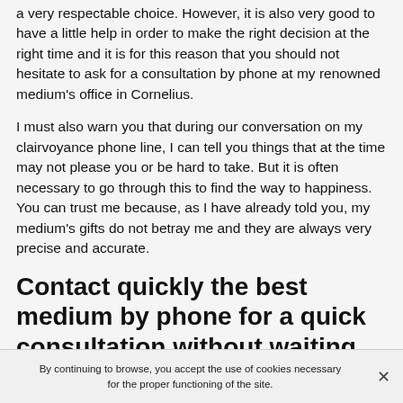a very respectable choice. However, it is also very good to have a little help in order to make the right decision at the right time and it is for this reason that you should not hesitate to ask for a consultation by phone at my renowned medium's office in Cornelius.
I must also warn you that during our conversation on my clairvoyance phone line, I can tell you things that at the time may not please you or be hard to take. But it is often necessary to go through this to find the way to happiness. You can trust me because, as I have already told you, my medium's gifts do not betray me and they are always very precise and accurate.
Contact quickly the best medium by phone for a quick consultation without waiting
By continuing to browse, you accept the use of cookies necessary for the proper functioning of the site.